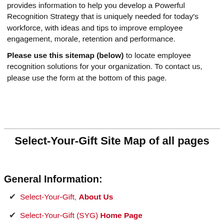provides information to help you develop a Powerful Recognition Strategy that is uniquely needed for today's workforce, with ideas and tips to improve employee engagement, morale, retention and performance.
Please use this sitemap (below) to locate employee recognition solutions for your organization. To contact us, please use the form at the bottom of this page.
Select-Your-Gift Site Map of all pages
General Information:
Select-Your-Gift, About Us
Select-Your-Gift (SYG) Home Page